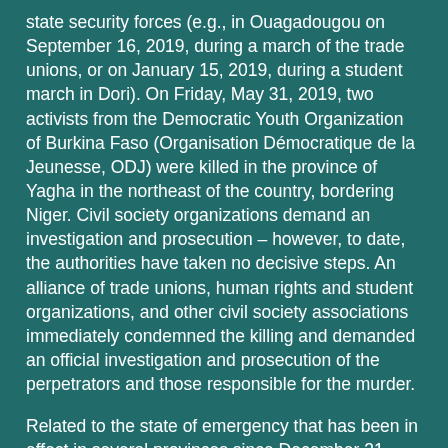state security forces (e.g., in Ouagadougou on September 16, 2019, during a march of the trade unions, or on January 15, 2019, during a student march in Dori). On Friday, May 31, 2019, two activists from the Democratic Youth Organization of Burkina Faso (Organisation Démocratique de la Jeunesse, ODJ) were killed in the province of Yagha in the northeast of the country, bordering Niger. Civil society organizations demand an investigation and prosecution – however, to date, the authorities have taken no decisive steps. An alliance of trade unions, human rights and student organizations, and other civil society associations immediately condemned the killing and demanded an official investigation and prosecution of the perpetrators and those responsible for the murder.
Related to the state of emergency that has been in effect in several provinces since December 31, 2018, due to the increase in terrorist attacks, the authorities have restricted the right to assembly. Nevertheless, more than 150 protests and riots were reported in 2019. Related to the COVID-19 crisis, public gatherings were banned from March 12 – April 31, 2020. Nevertheless, there have been marches for peace in